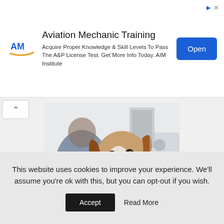[Figure (screenshot): Advertisement banner for Aviation Mechanic Training by AIM Institute. Contains AM logo with swoosh, ad title, description text, and a blue Open button. Corner has triangular ad icon and close X.]
[Figure (photo): A brown and white Jack Russell terrier dog tilting its head at the camera, with a blurred male veterinarian in blue scrubs working in the background at a veterinary clinic.]
This website uses cookies to improve your experience. We'll assume you're ok with this, but you can opt-out if you wish.
Accept  Read More